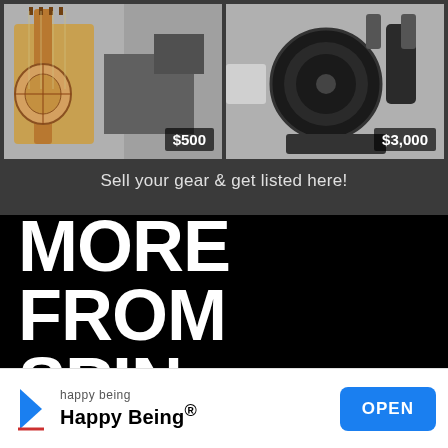[Figure (photo): Two product listing photos side by side on dark gray background: left shows an acoustic guitar with price badge $500, right shows a stationary exercise bike with price badge $3,000]
Sell your gear & get listed here!
MORE FROM SPIN
[Figure (photo): Partial screenshot of an advertisement banner for 'Happy Being' app with butterfly image, close button, and OPEN button]
happy being
Happy Being®
OPEN